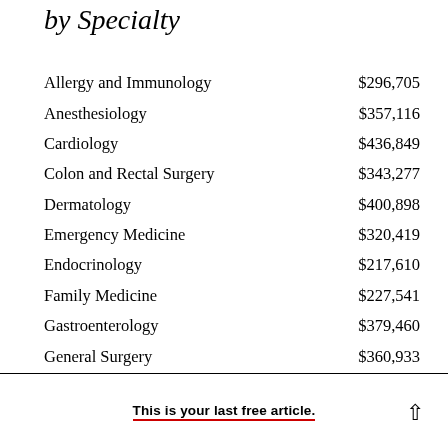by Specialty
| Specialty | Amount |
| --- | --- |
| Allergy and Immunology | $296,705 |
| Anesthesiology | $357,116 |
| Cardiology | $436,849 |
| Colon and Rectal Surgery | $343,277 |
| Dermatology | $400,898 |
| Emergency Medicine | $320,419 |
| Endocrinology | $217,610 |
| Family Medicine | $227,541 |
| Gastroenterology | $379,460 |
| General Surgery | $360,933 |
This is your last free article.